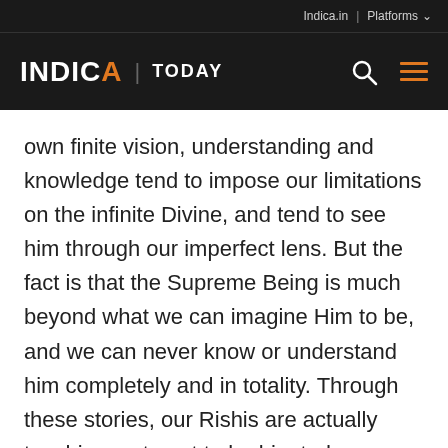Indica.in | Platforms
INDICA | TODAY
own finite vision, understanding and knowledge tend to impose our limitations on the infinite Divine, and tend to see him through our imperfect lens. But the fact is that the Supreme Being is much beyond what we can imagine Him to be, and we can never know or understand him completely and in totality. Through these stories, our Rishis are actually teaching us to not to be bigoted regarding any one conception of the Lord, which is by nature finite and